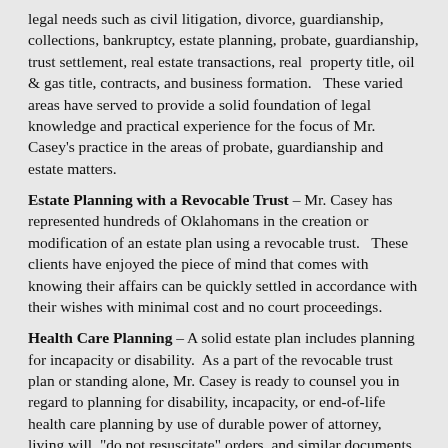legal needs such as civil litigation, divorce, guardianship, collections, bankruptcy, estate planning, probate, guardianship, trust settlement, real estate transactions, real property title, oil & gas title, contracts, and business formation.  These varied areas have served to provide a solid foundation of legal knowledge and practical experience for the focus of Mr. Casey's practice in the areas of probate, guardianship and estate matters.
Estate Planning with a Revocable Trust – Mr. Casey has represented hundreds of Oklahomans in the creation or modification of an estate plan using a revocable trust.  These clients have enjoyed the piece of mind that comes with knowing their affairs can be quickly settled in accordance with their wishes with minimal cost and no court proceedings.
Health Care Planning – A solid estate plan includes planning for incapacity or disability.  As a part of the revocable trust plan or standing alone, Mr. Casey is ready to counsel you in regard to planning for disability, incapacity, or end-of-life health care planning by use of durable power of attorney, living will, "do not resuscitate" orders, and similar documents.
Last Will and Testament – Failing to make a plan for the disposition of one's estate, no matter the size or situation, can lead to disasterous consequences for families.  Mr. Casey works with clients to identify